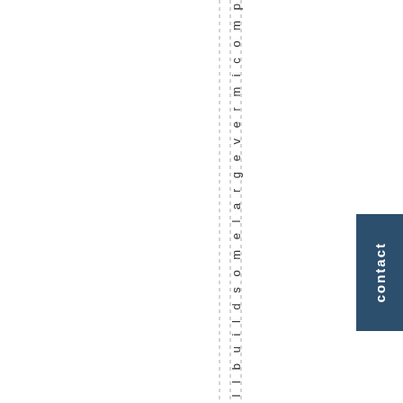I I . I I b u i l d s o m e l a r g e v e r m i c o m p
[Figure (other): Dashed vertical lines running from top to bottom of the page]
contact